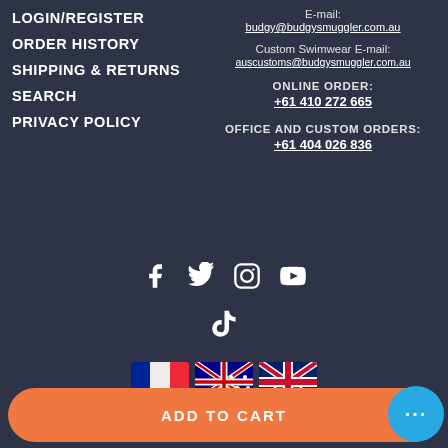LOGIN/REGISTER
ORDER HISTORY
SHIPPING & RETURNS
SEARCH
PRIVACY POLICY
E-mail: budgy@budgysmuggler.com.au
Custom Swimwear E-mail: auscustoms@budgysmuggler.com.au
ONLINE ORDER: +61 410 272 665
OFFICE AND CUSTOM ORDERS: +61 404 026 836
[Figure (infographic): Social media icons: Facebook, Twitter, Instagram, YouTube, TikTok]
[Figure (infographic): Country flag icons: France, Australia, United Kingdom]
ADD TO CART